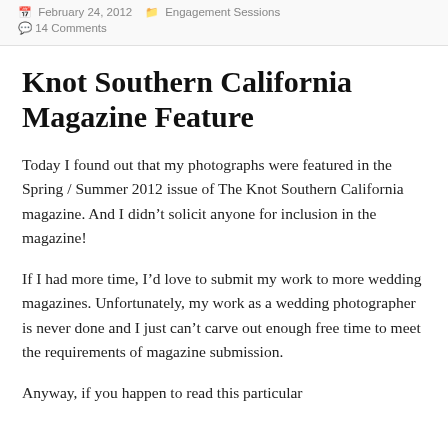February 24, 2012  Engagement Sessions
💬 14 Comments
Knot Southern California Magazine Feature
Today I found out that my photographs were featured in the Spring / Summer 2012 issue of The Knot Southern California magazine. And I didn't solicit anyone for inclusion in the magazine!
If I had more time, I'd love to submit my work to more wedding magazines. Unfortunately, my work as a wedding photographer is never done and I just can't carve out enough free time to meet the requirements of magazine submission.
Anyway, if you happen to read this particular